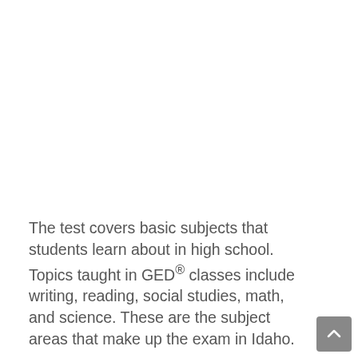The test covers basic subjects that students learn about in high school. Topics taught in GED® classes include writing, reading, social studies, math, and science. These are the subject areas that make up the exam in Idaho.